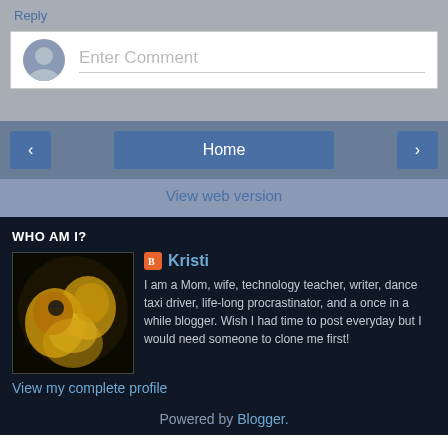Reply
[Figure (screenshot): Comment input box with avatar placeholder and 'Enter Comment' placeholder text]
[Figure (screenshot): Navigation bar with left arrow, Home button, and right arrow buttons]
View web version
WHO AM I?
[Figure (photo): Profile photo of Kristi - group photo with yellow tones]
Kristi
I am a Mom, wife, technology teacher, writer, dance taxi driver, life-long procrastinator, and a once in a while blogger. Wish I had time to post everyday but I would need someone to clone me first!
View my complete profile
Powered by Blogger.